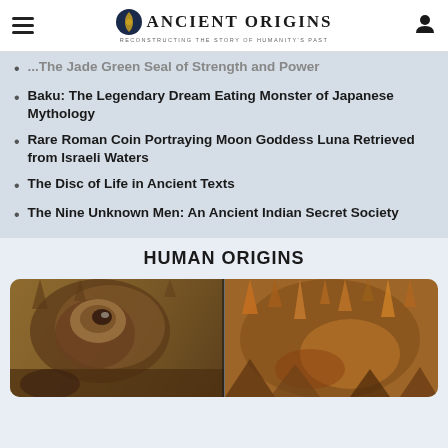Ancient Origins — Reconstructing the Story of Humanity's Past
... The Jade Green Seal of Strength and Power
Baku: The Legendary Dream Eating Monster of Japanese Mythology
Rare Roman Coin Portraying Moon Goddess Luna Retrieved from Israeli Waters
The Disc of Life in Ancient Texts
The Nine Unknown Men: An Ancient Indian Secret Society
HUMAN ORIGINS
[Figure (photo): Composite photo showing ancient cave art or fossil on the left half, and cave formations/stalactites on the right half.]